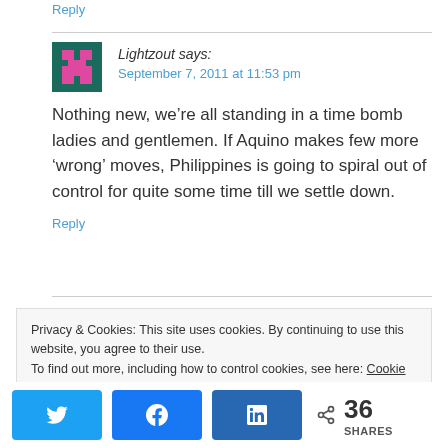Reply
Lightzout says:
September 7, 2011 at 11:53 pm
Nothing new, we’re all standing in a time bomb ladies and gentlemen. If Aquino makes few more ‘wrong’ moves, Philippines is going to spiral out of control for quite some time till we settle down.
Reply
Privacy & Cookies: This site uses cookies. By continuing to use this website, you agree to their use.
To find out more, including how to control cookies, see here: Cookie Policy
36 SHARES